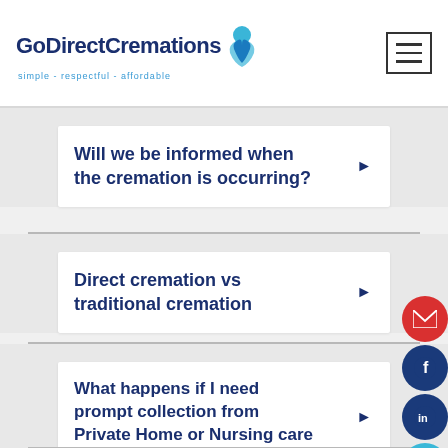GoDirectCremations simple - respectful - affordable
Will we be informed when the cremation is occurring?
Direct cremation vs traditional cremation
What happens if I need prompt collection from Private Home or Nursing care home?